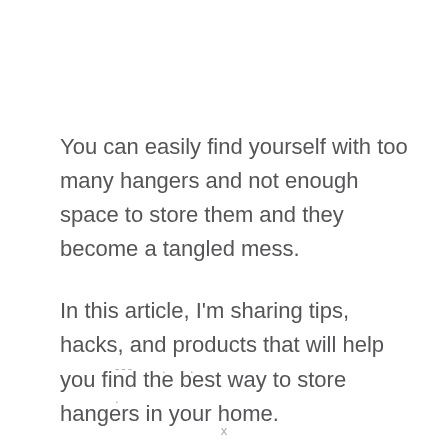You can easily find yourself with too many hangers and not enough space to store them and they become a tangled mess.
In this article, I'm sharing tips, hacks, and products that will help you find the best way to store hangers in your home.
--- . . x